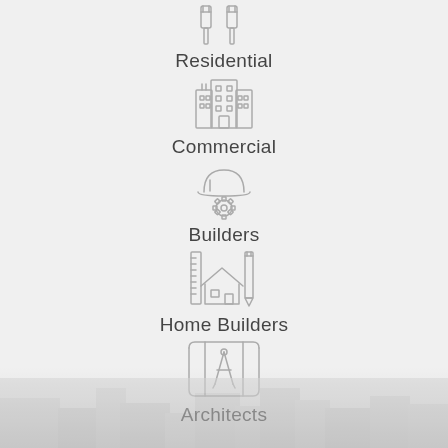[Figure (illustration): Wrench/tools icon for Residential category]
Residential
[Figure (illustration): Building/skyscraper icon for Commercial category]
Commercial
[Figure (illustration): Hard hat with gear icon for Builders category]
Builders
[Figure (illustration): House with ruler and pencil icon for Home Builders category]
Home Builders
[Figure (illustration): Blueprint/compass icon for Architects category]
Architects
[Figure (photo): Grayscale photo of buildings at the bottom of the page]